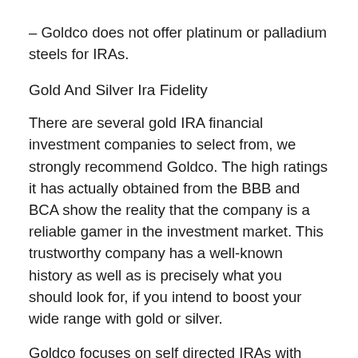– Goldco does not offer platinum or palladium steels for IRAs.
Gold And Silver Ira Fidelity
There are several gold IRA financial investment companies to select from, we strongly recommend Goldco. The high ratings it has actually obtained from the BBB and BCA show the reality that the company is a reliable gamer in the investment market. This trustworthy company has a well-known history as well as is precisely what you should look for, if you intend to boost your wide range with gold or silver.
Goldco focuses on self directed IRAs with